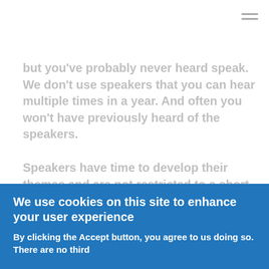but you've probably never heard speak. We don't use speakers that you can hear multiple times in a year. And often you won't have previously heard of the speakers.
Speakers have time to develop their themes and are not restricted to a short paper. We don't cram the programme with so many presentations that they can do little beyond an overview. Our focus is always on risk and prevention first and compliance second.
We don't allow commercial presentations as papers, we do allow short presentations between speakers. But we don't
We use cookies on this site to enhance your user experience
By clicking the Accept button, you agree to us doing so. There are no third